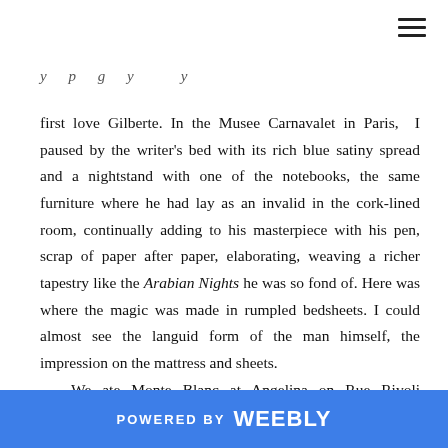first love Gilberte. In the Musee Carnavalet in Paris, I paused by the writer's bed with its rich blue satiny spread and a nightstand with one of the notebooks, the same furniture where he had lay as an invalid in the cork-lined room, continually adding to his masterpiece with his pen, scrap of paper after paper, elaborating, weaving a richer tapestry like the Arabian Nights he was so fond of. Here was where the magic was made in rumpled bedsheets. I could almost see the languid form of the man himself, the impression on the mattress and sheets.

	We ate Monte Blanc at Angelina on Rue Rivoli whipped hazelnut confection, at the same tea room, frequented by Proust. The taste of the rich chocolaty dreamlike. Inimitable. We
POWERED BY weebly